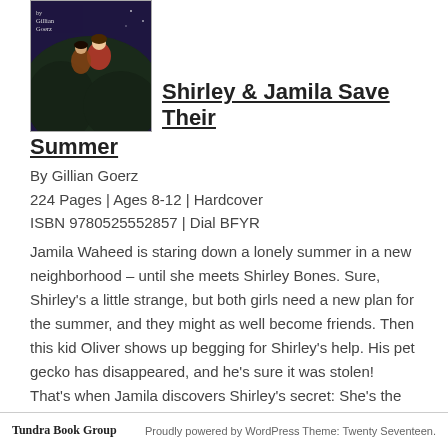[Figure (illustration): Book cover of Shirley & Jamila Save Their Summer by Gillian Goerz, showing illustrated characters on a dark blue/purple background with author name at top left]
Shirley & Jamila Save Their Summer
By Gillian Goerz
224 Pages | Ages 8-12 | Hardcover
ISBN 9780525552857 | Dial BFYR
Jamila Waheed is staring down a lonely summer in a new neighborhood – until she meets Shirley Bones. Sure, Shirley's a little strange, but both girls need a new plan for the summer, and they might as well become friends. Then this kid Oliver shows up begging for Shirley's help. His pet gecko has disappeared, and he's sure it was stolen! That's when Jamila discovers Shirley's secret: She's the neighborhood's best kid detective, and she's on the case. When Jamila discovers she's got some detective skills of her own, a crime-solving partnership is
Tundra Book Group    Proudly powered by WordPress Theme: Twenty Seventeen.